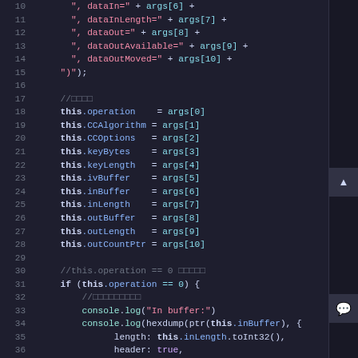[Figure (screenshot): Code editor screenshot showing JavaScript/TypeScript source code lines 10-39. Dark theme editor with syntax highlighting. Lines show string concatenation for logging function arguments, property assignments to 'this', and an if-statement checking this.operation == 0 with console.log calls.]